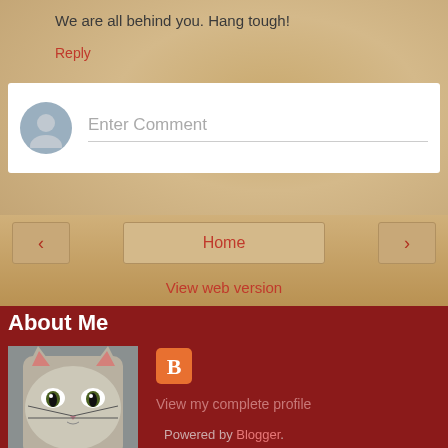We are all behind you. Hang tough!
Reply
[Figure (screenshot): Comment input box with avatar placeholder and 'Enter Comment' placeholder text]
Home
View web version
About Me
[Figure (photo): Grumpy Cat meme image with 'NO.' caption at bottom]
View my complete profile
Powered by Blogger.